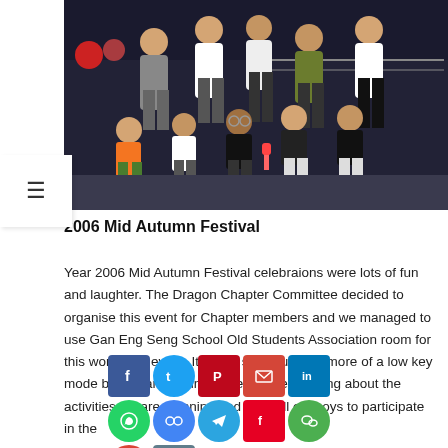[Figure (photo): Group photo of adults and children at 2006 Mid Autumn Festival, taken at night outdoors. Adults standing in back row, children sitting in front row.]
2006 Mid Autumn Festival
Year 2006 Mid Autumn Festival celebraions were lots of fun and laughter. The Dragon Chapter Committee decided to organise this event for Chapter members and we managed to use Gan Eng Seng School Old Students Association room for this wonderful event. It was a small turn out more of a low key mode but we are getting more people knowing about the activities we are planning and urge all old boys to participate in the
[Figure (infographic): Social media sharing buttons: Facebook, Twitter, Pinterest, Email, LinkedIn (row 1); WhatsApp, Copy link, Telegram, Flipboard, WeChat (row 2); Gmail, More (row 3)]